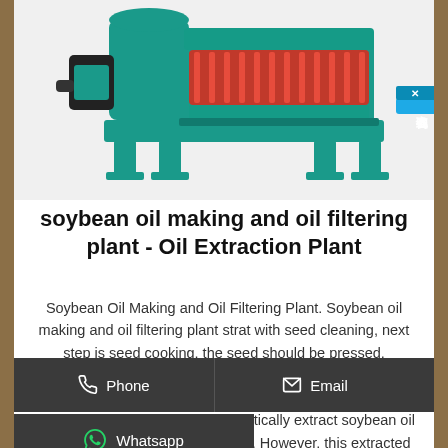[Figure (photo): Industrial soybean oil press machine / oil expeller with green metal housing and red internal screw press mechanism visible, mounted on a metal frame]
soybean oil making and oil filtering plant - Oil Extraction Plant
Soybean Oil Making and Oil Filtering Plant. Soybean oil making and oil filtering plant strat with seed cleaning, next step is seed cooking, the seed should be pressed, separated, and filtering for getting useful oil. After cleaning and roasting, the soybean seeds will be sent to soybean oil press machine directly, for automatically extract soybean oil out with certain oil press machine. However, this extracted